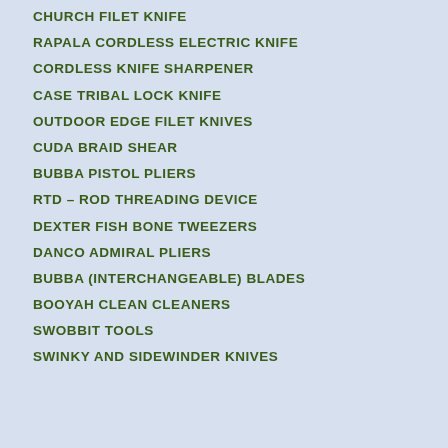CHURCH FILET KNIFE
RAPALA CORDLESS ELECTRIC KNIFE
CORDLESS KNIFE SHARPENER
CASE TRIBAL LOCK KNIFE
OUTDOOR EDGE FILET KNIVES
CUDA BRAID SHEAR
BUBBA PISTOL PLIERS
RTD – ROD THREADING DEVICE
DEXTER FISH BONE TWEEZERS
DANCO ADMIRAL PLIERS
BUBBA (INTERCHANGEABLE) BLADES
BOOYAH CLEAN CLEANERS
SWOBBIT TOOLS
SWINKY and SIDEWINDER KNIVES